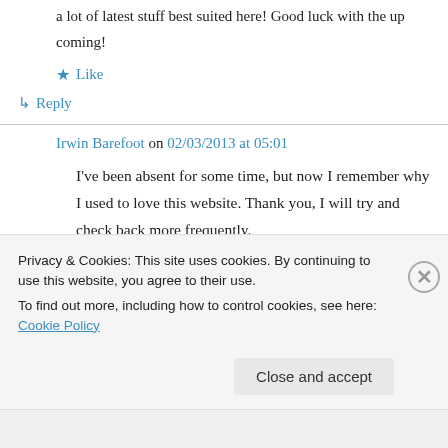a lot of latest stuff best suited here! Good luck with the up coming!
★ Like
↳ Reply
Irwin Barefoot on 02/03/2013 at 05:01
I've been absent for some time, but now I remember why I used to love this website. Thank you, I will try and check back more frequently.
Privacy & Cookies: This site uses cookies. By continuing to use this website, you agree to their use.
To find out more, including how to control cookies, see here: Cookie Policy
Close and accept